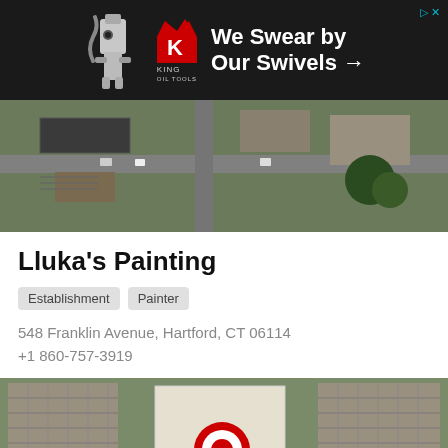[Figure (screenshot): Advertisement banner for King Oil Tools with dark background, robot/tool image on left, red K logo with crown in center, white text 'We Swear by Our Swivels →' on right, with close/skip buttons top right]
[Figure (photo): Aerial satellite map view showing street intersection with buildings, roads, and vegetation]
Lluka's Painting
Establishment
Painter
548 Franklin Avenue, Hartford, CT 06114
+1 860-757-3919
[Figure (map): Aerial map showing location pin (red and white target icon) at business location near parking lots and building]